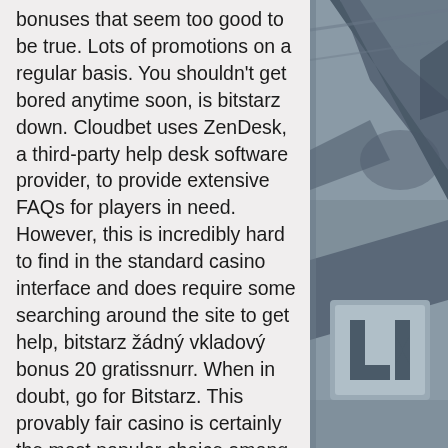bonuses that seem too good to be true. Lots of promotions on a regular basis. You shouldn't get bored anytime soon, is bitstarz down. Cloudbet uses ZenDesk, a third-party help desk software provider, to provide extensive FAQs for players in need. However, this is incredibly hard to find in the standard casino interface and does require some searching around the site to get help, bitstarz žádný vkladový bonus 20 gratissnurr. When in doubt, go for Bitstarz. This provably fair casino is certainly the most popular choice among crypto gamblers for a good reason: it hosts over 2,000 quality games and it is compatible with a wide range of cryptocurrencies, such as Bitcoin, Litecoin, Bitcoin Cash, Ethereum and Dogecoin, bitstarz 20 gratissnurr. To help you get started, we have taken a look and found the most popular Bitcoin slot games in 2020 for you to try out when you sign up to your
[Figure (illustration): Decorative grayscale illustration on the right side of the page, partially visible, showing abstract geometric shapes and stylized design elements in shades of gray.]